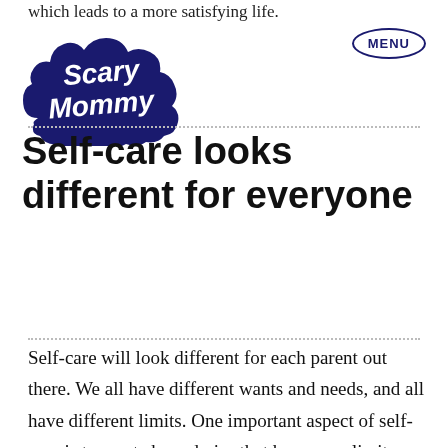which leads to a more satisfying life.
[Figure (logo): Scary Mommy logo - dark blue cloud-shaped badge with stylized white text reading 'Scary Mommy']
MENU
Self-care looks different for everyone
Self-care will look different for each parent out there. We all have different wants and needs, and all have different limits. One important aspect of self-care is to create boundaries that honor our limits. While one person may have a strong capacity for loud noise, another may be less tolerant of it. When we honor our limits, needs, and wants without critical judgement, we can discover meaningful self-care...